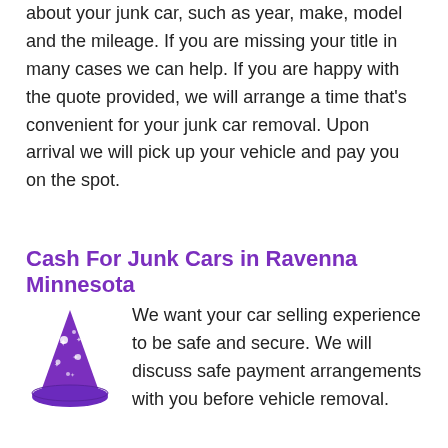about your junk car, such as year, make, model and the mileage. If you are missing your title in many cases we can help. If you are happy with the quote provided, we will arrange a time that's convenient for your junk car removal. Upon arrival we will pick up your vehicle and pay you on the spot.
Cash For Junk Cars in Ravenna Minnesota
[Figure (illustration): Purple wizard hat with white stars]
We want your car selling experience to be safe and secure. We will discuss safe payment arrangements with you before vehicle removal.